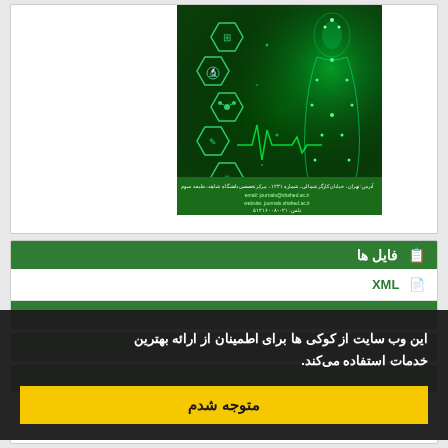[Figure (illustration): Iranian academic journal cover with green background, hexagonal science icons, digital human figure made of light particles, and contact information text in Persian at the bottom]
فایل ها
XML
این وب سایت از کوکی ها برای اطمینان از ارائه بهترین خدمات استفاده می‌کند.
متوجه شدم